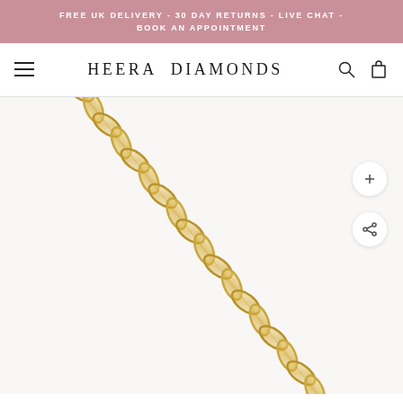FREE UK DELIVERY - 30 DAY RETURNS - LIVE CHAT - BOOK AN APPOINTMENT
HEERA DIAMONDS
[Figure (photo): Close-up product photo of a gold rope/twisted chain bracelet with diamond-cut patterned links arranged diagonally across a white background. The chain runs from top-left to bottom-right of the image.]